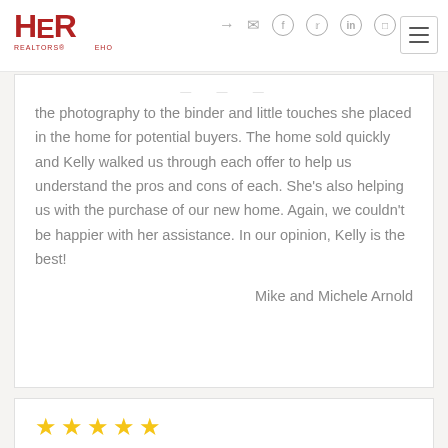HER REALTORS
the photography to the binder and little touches she placed in the home for potential buyers. The home sold quickly and Kelly walked us through each offer to help us understand the pros and cons of each. She's also helping us with the purchase of our new home. Again, we couldn't be happier with her assistance. In our opinion, Kelly is the best!
Mike and Michele Arnold
★★★★★
Sold a Condo home in 2020 in Heath, OH.